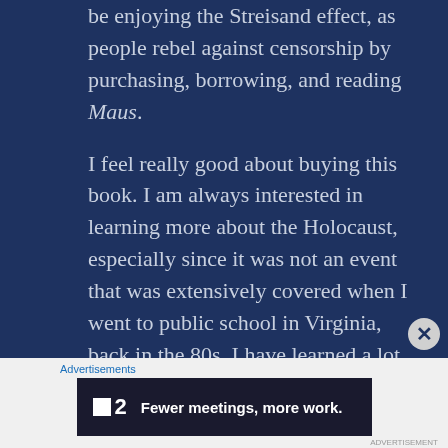be enjoying the Streisand effect, as people rebel against censorship by purchasing, borrowing, and reading Maus.
I feel really good about buying this book. I am always interested in learning more about the Holocaust, especially since it was not an event that was extensively covered when I went to public school in Virginia, back in the 80s. I have learned a lot about the Holocaust on my own, having read a lot of true stories
Advertisements
[Figure (screenshot): Advertisement banner for Twist app showing logo and text 'Fewer meetings, more work.']